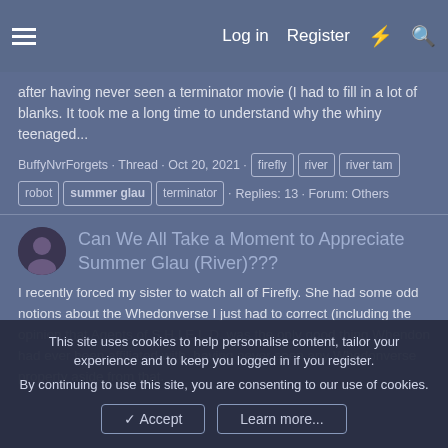Log in  Register
after having never seen a terminator movie (I had to fill in a lot of blanks. It took me a long time to understand why the whiny teenaged...
BuffyNvrForgets · Thread · Oct 20, 2021 · firefly · river · river tam · robot · summer glau · terminator · Replies: 13 · Forum: Others
Can We All Take a Moment to Appreciate Summer Glau (River)???
I recently forced my sister to watch all of Firefly. She had some odd notions about the Whedonverse I just had to correct (including the opinion that Agents of S.H.I.E.L.D. was the only good thing Whendon had ever been affiliated with, having never seen any Whedonverse property aside from that.
This site uses cookies to help personalise content, tailor your experience and to keep you logged in if you register.
By continuing to use this site, you are consenting to our use of cookies.